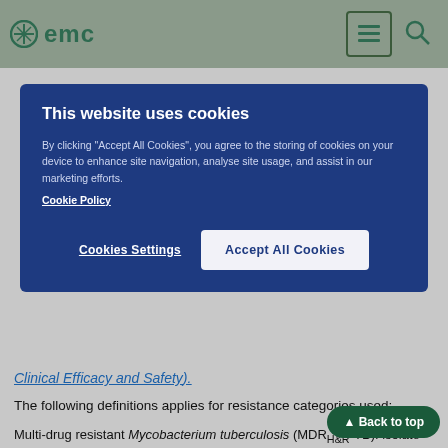emc
[Figure (screenshot): Cookie consent banner overlay on emc website with 'This website uses cookies' title, explanatory text, Cookie Policy link, Cookies Settings button, and Accept All Cookies button]
Clinical Efficacy and Safety.
The following definitions applies for resistance categories used:
Multi-drug resistant Mycobacterium tuberculosis (MDRH&R-TB): isolate resistant to at least isoniazid and rifampicin, but susceptible to fluoroquinolones and second line injectable agents.
Pre-extensively drug resistant tuberculosis (pre-XDR-TB): isolate resistant to isoniazid, rifampicin, and either any fluoroquinolone or at least one second line injectable agent (but not to both a fluoroquinolone and a second line injectable agent).
Extensively drug resistant tuberculosis (XDR-TB): isolate resistant to isoniazid, rifampicin, any fluoroquinolone, and at least one second line...